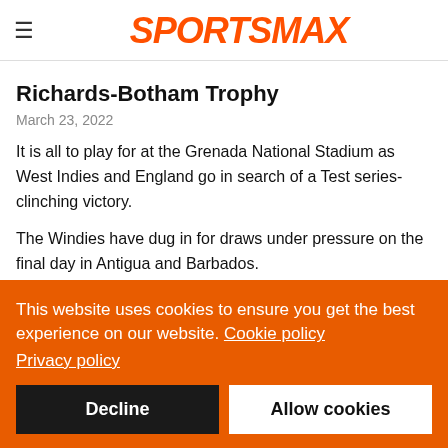≡ SPORTSMAX
Richards-Botham Trophy
March 23, 2022
It is all to play for at the Grenada National Stadium as West Indies and England go in search of a Test series-clinching victory.
The Windies have dug in for draws under pressure on the final day in Antigua and Barbados.
England are bottom of the World Test Championship table, with
This website uses cookies to ensure you get the best experience on our website. Cookie policy
Privacy policy
Decline | Allow cookies